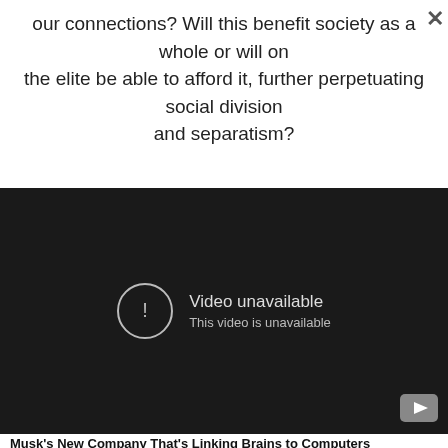our connections? Will this benefit society as a whole or will only the elite be able to afford it, further perpetuating social division and separatism?
[Figure (screenshot): Embedded video player showing 'Video unavailable – This video is unavailable' error message with YouTube logo in bottom-right corner, on a dark background.]
Musk's New Company That's Linking Brains to Computers